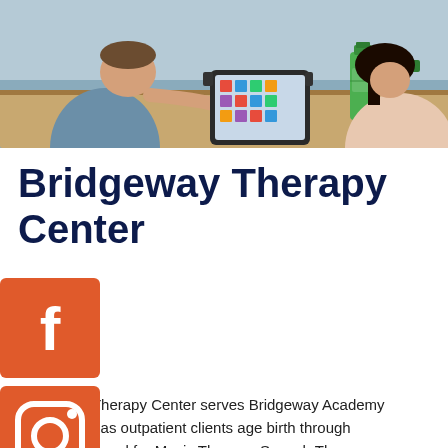[Figure (photo): Two people sitting at a desk working with a tablet device; a green bottle is visible on the desk]
Bridgeway Therapy Center
[Figure (logo): Facebook icon - orange/red square with white f]
Bridgeway Therapy Center serves Bridgeway Academy ents as well as outpatient clients age birth through young adulthood for Music Therapy, Speech Therapy, pational Therapy, Physical Therapy, Psychological Family Partnership Services.
[Figure (logo): Instagram icon - orange/red square with camera outline]
[Figure (logo): Twitter icon - orange/red square with white bird]
[Figure (logo): YouTube icon - orange/red square with play button]
clinical staff works collaboratively with families